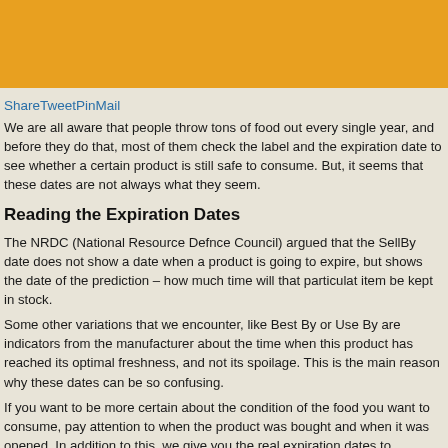ShareTweetPinMail
We are all aware that people throw tons of food out every single year, and before they do that, most of them check the label and the expiration date to see whether a certain product is still safe to consume. But, it seems that these dates are not always what they seem.
Reading the Expiration Dates
The NRDC (National Resource Defnce Council) argued that the SellBy date does not show a date when a product is going to expire, but shows the date of the prediction – how much time will that particulat item be kept in stock.
Some other variations that we encounter, like Best By or Use By are indicators from the manufacturer about the time when this product has reached its optimal freshness, and not its spoilage. This is the main reason why these dates can be so confusing.
If you want to be more certain about the condition of the food you want to consume, pay attention to when the product was bought and when it was opened. In addition to this, we give you the real expiration dates to